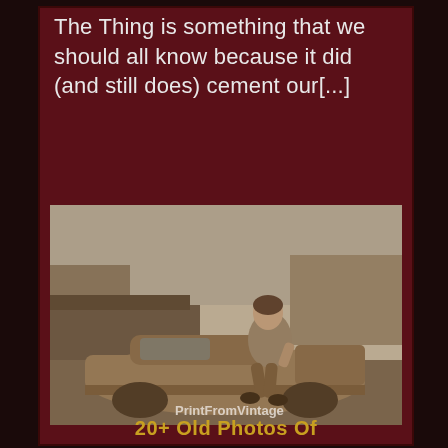The Thing is something that we should all know because it did (and still does) cement our[...]
[Figure (photo): Vintage sepia-tone photograph of a person sitting on the trunk of an old car, outdoors with trees and a barn in the background. Watermark reads 'PrintFromVintage'.]
20+ Old Photos Of